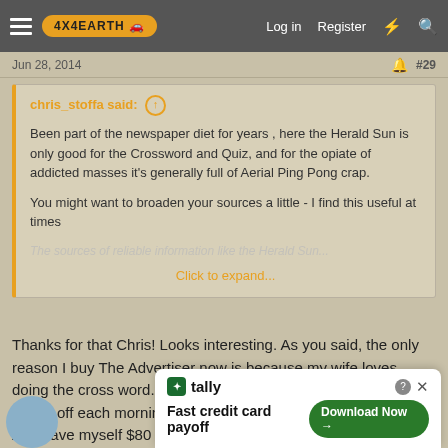4X4EARTH — Log in | Register
Jun 28, 2014  #29
chris_stoffa said: ↑

Been part of the newspaper diet for years , here the Herald Sun is only good for the Crossword and Quiz, and for the opiate of addicted masses it's generally full of Aerial Ping Pong crap.

You might want to broaden your sources a little - I find this useful at times

Click to expand...
Thanks for that Chris! Looks interesting. As you said, the only reason I buy The Advertiser now is because my wife loves doing the cross word. Maybe I can get organized enough to print it off each morning, from one of those on-line publications. And save myself $80 every ten weeks. Cheers.
[Figure (screenshot): Tally app advertisement banner: 'Fast credit card payoff' with Download Now button]